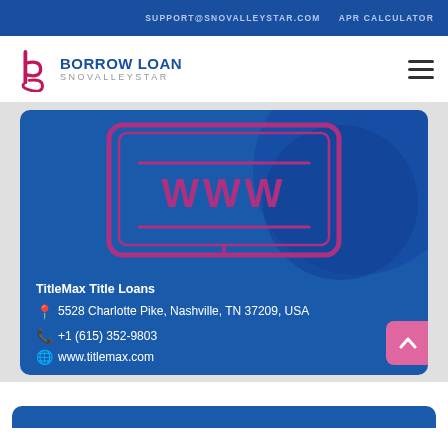SUPPORT@SNOVALLEYSTAR.COM   APR CALCULATOR
[Figure (logo): Borrow Loan Snovalleystar logo with stylized 'b' icon in pink/red and blue]
[Figure (infographic): Business card for TitleMax Title Loans on blue background with WWW monitor illustration. Address: 5528 Charlotte Pike, Nashville, TN 37209, USA. Phone: +1 (615) 352-9803. Website: www.titlemax.com]
TitleMax Title Loans
5528 Charlotte Pike, Nashville, TN 37209, USA
+1 (615) 352-9803
www.titlemax.com